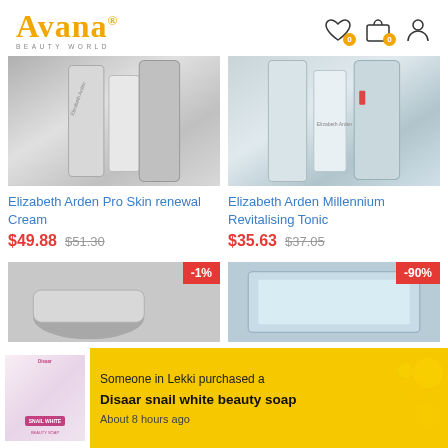[Figure (logo): Avana Beauty World logo in gold/yellow color]
[Figure (photo): Elizabeth Arden skincare product tubes on white surface]
[Figure (photo): Elizabeth Arden skincare product bottles on white surface]
Elizabeth Arden Pro Skin renewal Cream
Elizabeth Arden Millennium Revitalising Tonic
$49.88 $51.30
$35.63 $37.05
[Figure (photo): Skincare cream product with -1% discount badge]
[Figure (photo): Blue skincare product with -90% discount badge]
Someone in Lekki purchased a Disaar snail white beauty soap About 8 hours ago